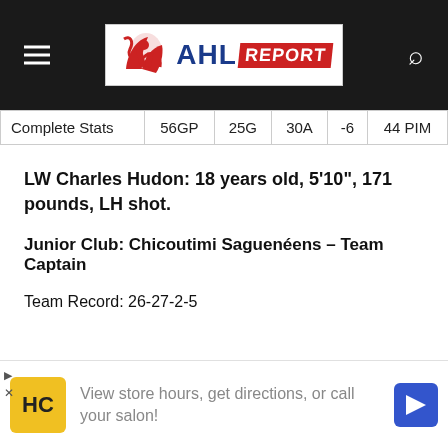AHL REPORT
| Complete Stats | 56GP | 25G | 30A | -6 | 44 PIM |
| --- | --- | --- | --- | --- | --- |
LW Charles Hudon: 18 years old, 5'10", 171 pounds, LH shot.
Junior Club: Chicoutimi Saguenéens – Team Captain
Team Record: 26-27-2-5
[Figure (other): Advertisement banner: HC logo, 'View store hours, get directions, or call your salon!' with navigation icon]